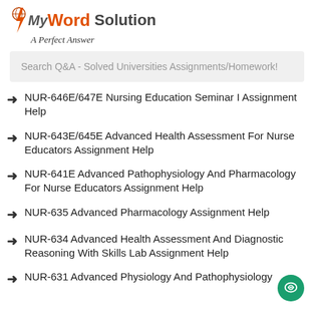[Figure (logo): My Word Solution logo with lightning bolt and tagline 'A Perfect Answer']
Search Q&A - Solved Universities Assignments/Homework!
NUR-646E/647E Nursing Education Seminar I Assignment Help
NUR-643E/645E Advanced Health Assessment For Nurse Educators Assignment Help
NUR-641E Advanced Pathophysiology And Pharmacology For Nurse Educators Assignment Help
NUR-635 Advanced Pharmacology Assignment Help
NUR-634 Advanced Health Assessment And Diagnostic Reasoning With Skills Lab Assignment Help
NUR-631 Advanced Physiology And Pathophysiology